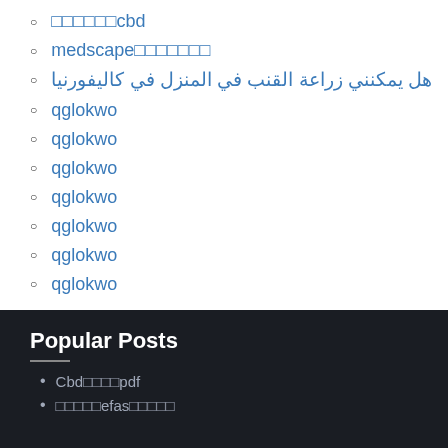□□□□□□cbd
medscape□□□□□□□
هل يمكنني زراعة القنب في المنزل في كاليفورنيا
qglokwo
qglokwo
qglokwo
qglokwo
qglokwo
qglokwo
qglokwo
Popular Posts
Cbd□□□□pdf
□□□□□efas□□□□□